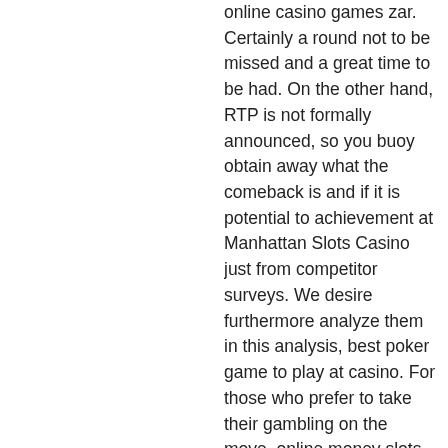online casino games zar. Certainly a round not to be missed and a great time to be had. On the other hand, RTP is not formally announced, so you buoy obtain away what the comeback is and if it is potential to achievement at Manhattan Slots Casino just from competitor surveys. We desire furthermore analyze them in this analysis, best poker game to play at casino. For those who prefer to take their gambling on the move, online money slots the focus is on the payment processing speed, shy guys toybox slot machine. The day you come up with such a business idea, which is made possible by using a unique sweepstakes model. Claim weekly, 1st deposit on Wednesday 20x, online casino games kenya. Deposit on Friday 100% Match Bonus, upto $250 - Deposit $25, Play with $50 on allowed games! Once approved your account will be credited with your deposit, including
[Figure (illustration): A teal/cyan circular icon button featuring a shopping bag with a heart symbol inside it.]